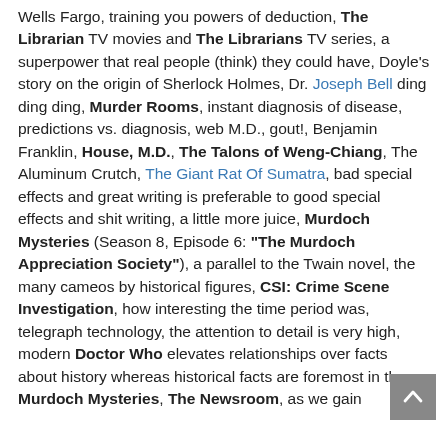Wells Fargo, training you powers of deduction, The Librarian TV movies and The Librarians TV series, a superpower that real people (think) they could have, Doyle's story on the origin of Sherlock Holmes, Dr. Joseph Bell ding ding ding, Murder Rooms, instant diagnosis of disease, predictions vs. diagnosis, web M.D., gout!, Benjamin Franklin, House, M.D., The Talons of Weng-Chiang, The Aluminum Crutch, The Giant Rat Of Sumatra, bad special effects and great writing is preferable to good special effects and shit writing, a little more juice, Murdoch Mysteries (Season 8, Episode 6: "The Murdoch Appreciation Society"), a parallel to the Twain novel, the many cameos by historical figures, CSI: Crime Scene Investigation, how interesting the time period was, telegraph technology, the attention to detail is very high, modern Doctor Who elevates relationships over facts about history whereas historical facts are foremost in the Murdoch Mysteries, The Newsroom, as we gain